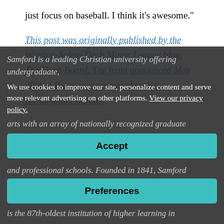just focus on baseball. I think it’s awesome.”
This post was originally published by the Winston-Salem Dash Minor League blog, The Dash Board. The team announced May 29 that Burns was promoted to the Birmingham Barons.
Samford is a leading Christian university offering undergraduate,
We use cookies to improve our site, personalize content and serve more relevant advertising on other platforms. View our privacy policy.
arts with an array of nationally recognized graduate
Accept
and professional schools. Founded in 1841, Samford
Preferences
is the 87th-oldest institution of higher learning in